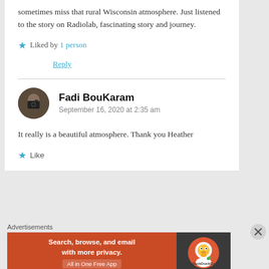sometimes miss that rural Wisconsin atmosphere. Just listened to the story on Radiolab, fascinating story and journey.
Liked by 1 person
Reply
Fadi BouKaram
September 16, 2020 at 2:35 am
It really is a beautiful atmosphere. Thank you Heather
Like
Advertisements
[Figure (infographic): DuckDuckGo advertisement banner: orange background on left with text 'Search, browse, and email with more privacy. All in One Free App', and dark background on right with DuckDuckGo logo.]